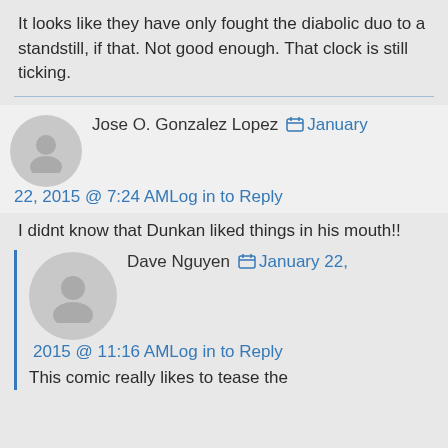It looks like they have only fought the diabolic duo to a standstill, if that. Not good enough. That clock is still ticking.
Jose O. Gonzalez Lopez  January 22, 2015 @ 7:24 AM  Log in to Reply
I didnt know that Dunkan liked things in his mouth!!
Dave Nguyen  January 22, 2015 @ 11:16 AM  Log in to Reply
This comic really likes to tease the